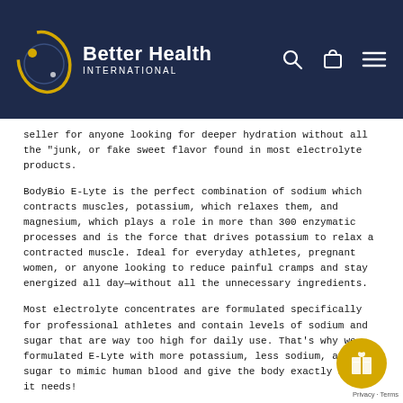Better Health International
seller for anyone looking for deeper hydration without all the "junk, or fake sweet flavor found in most electrolyte products.
BodyBio E-Lyte is the perfect combination of sodium which contracts muscles, potassium, which relaxes them, and magnesium, which plays a role in more than 300 enzymatic processes and is the force that drives potassium to relax a contracted muscle. Ideal for everyday athletes, pregnant women, or anyone looking to reduce painful cramps and stay energized all day—without all the unnecessary ingredients.
Most electrolyte concentrates are formulated specifically for professional athletes and contain levels of sodium and sugar that are way too high for daily use. That's why we formulated E-Lyte with more potassium, less sodium, and no sugar to mimic human blood and give the body exactly what it needs!
Pro-tip:
Replace that afternoon coffee with E-Lyte for a brain and body